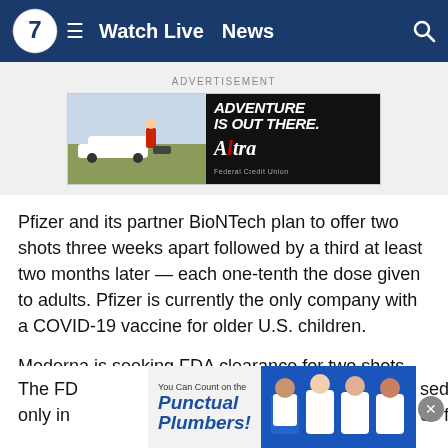Watch Live  News
[Figure (screenshot): Advertisement banner: ADVENTURE IS OUT THERE. Altra Federal Credit Union]
Pfizer and its partner BioNTech plan to offer two shots three weeks apart followed by a third at least two months later — each one-tenth the dose given to adults. Pfizer is currently the only company with a COVID-19 vaccine for older U.S. children.
Moderna is seeking FDA clearance for two shots, each a quarter of its adult dose, given about four weeks apart.
The FD… used only in… es for
[Figure (screenshot): Bottom advertisement banner: You Can Count on the Punctual Plumbers! with photo of plumbers in uniform]